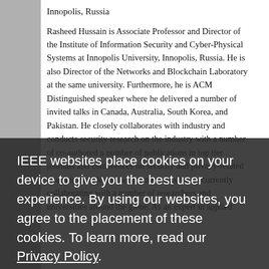Innopolis, Russia
Rasheed Hussain is Associate Professor and Director of the Institute of Information Security and Cyber-Physical Systems at Innopolis University, Innopolis, Russia. He is also Director of the Networks and Blockchain Laboratory at the same university. Furthermore, he is ACM Distinguished speaker where he delivered a number of invited talks in Canada, Australia, South Korea, and Pakistan. He closely collaborates with industry and conducts security research on the industry with a number of publications in top tier journals and conferences on security and privacy-related issues in mobile and ad hoc networks. He is currently collaborating with a number of researchers and universities around the globe. As an expert in applied
IEEE websites place cookies on your device to give you the best user experience. By using our websites, you agree to the placement of these cookies. To learn more, read our Privacy Policy.
Accept & Close